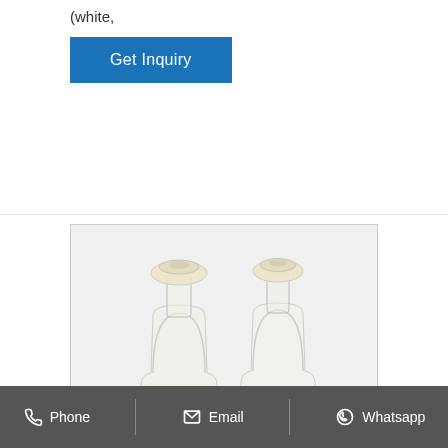(white,
[Figure (other): Blue 'Get Inquiry' button]
[Figure (photo): Two glass laboratory bottles with glass stoppers. Left bottle contains yellow/pale liquid; right bottle contains clear/colorless liquid. Both photographed on white background.]
Phone   Email   Whatsapp